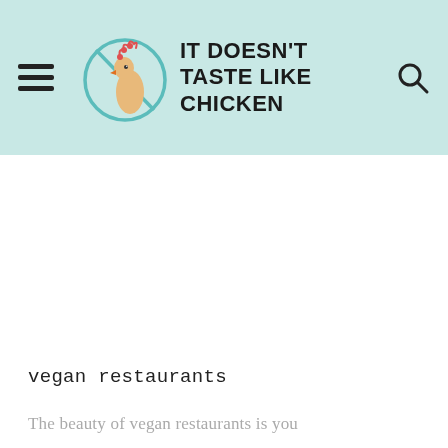IT DOESN'T TASTE LIKE CHICKEN
vegan restaurants
The beauty of vegan restaurants is you